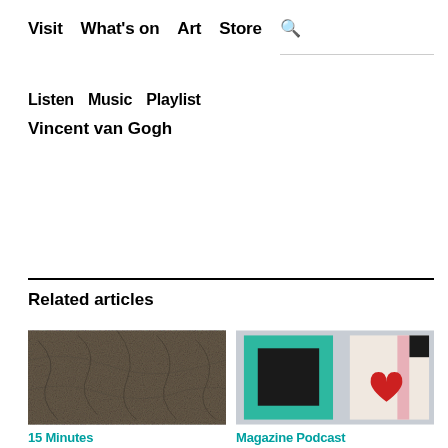Visit  What's on  Art  Store  🔍
Listen  Music  Playlist
Vincent van Gogh
Related articles
[Figure (photo): Close-up abstract textured painting with dark brown and grey tones, resembling tangled organic material]
15 Minutes
[Figure (photo): Two rectangular shapes on a light grey background — a teal/green rectangle with a dark inset, and a pink/white rectangle with a red heart shape]
Magazine Podcast